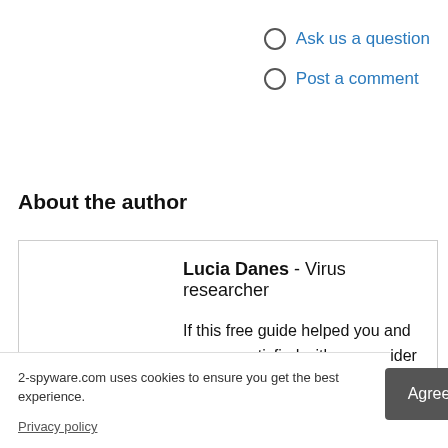Ask us a question
Post a comment
About the author
Lucia Danes - Virus researcher

If this free guide helped you and you are satisfied with our ...onsider ...on to keep ... Even a
2-spyware.com uses cookies to ensure you get the best experience.
Privacy policy
Agree